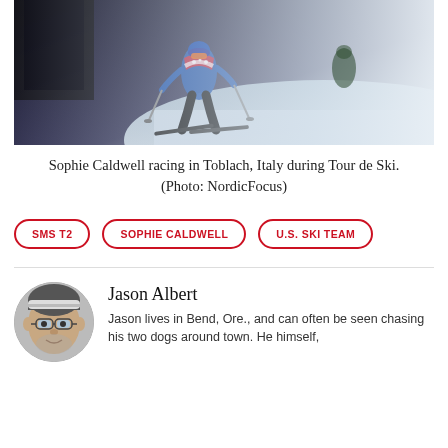[Figure (photo): Sophie Caldwell racing downhill on skis wearing a blue and red USA jacket, action shot in Toblach, Italy during Tour de Ski]
Sophie Caldwell racing in Toblach, Italy during Tour de Ski. (Photo: NordicFocus)
SMS T2
SOPHIE CALDWELL
U.S. SKI TEAM
Jason Albert
Jason lives in Bend, Ore., and can often be seen chasing his two dogs around town. He himself,